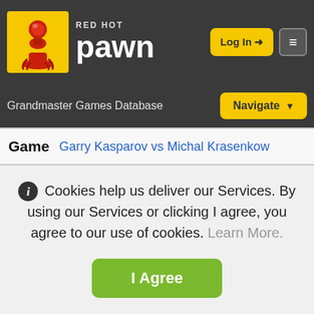[Figure (logo): Red Hot Pawn chess website logo with pawn icon and brand name]
Log In | Navigate | Grandmaster Games Database
Game   Garry Kasparov vs Michal Krasenkow
Cookies help us deliver our Services. By using our Services or clicking I agree, you agree to our use of cookies. Learn More. I Agree